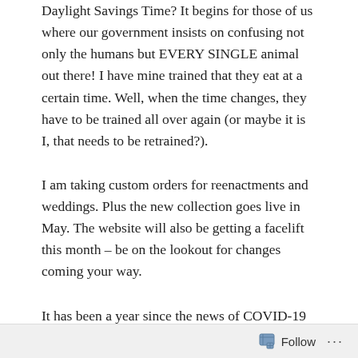Daylight Savings Time? It begins for those of us where our government insists on confusing not only the humans but EVERY SINGLE animal out there! I have mine trained that they eat at a certain time. Well, when the time changes, they have to be trained all over again (or maybe it is I, that needs to be retrained?).
I am taking custom orders for reenactments and weddings. Plus the new collection goes live in May. The website will also be getting a facelift this month – be on the lookout for changes coming your way.
It has been a year since the news of COVID-19 spread across the globe and everything was shut down to slow the spread. Here we are a year later..... small and large businesses alike are struggling to keep their heads afloat. I have seen businesses that have been around for centuries, fall apart and shutter their doors forever. I